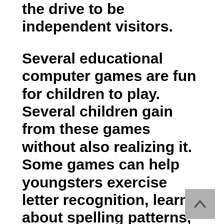the drive to be independent visitors.
Several educational computer games are fun for children to play. Several children gain from these games without also realizing it. Some games can help youngsters exercise letter recognition, learn about spelling patterns, discovering letter combinations, and enhance letter-sound expertise. Some video games can be made use of as a supplement to traditional class direction, while others are made to enhance basic academic skills, such as analysis. Youngsters may also locate the discovering procedure more enjoyable and also stimulating than it